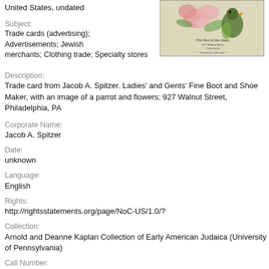United States, undated
[Figure (photo): Trade card from Jacob A. Spitzer showing a parrot and flowers with text 'Fine Boot & Shoe Maker, 927 Walnut Street, Philadelphia. Repairing neatly done.']
Subject:
Trade cards (advertising); Advertisements; Jewish merchants; Clothing trade; Specialty stores
Description:
Trade card from Jacob A. Spitzer. Ladies' and Gents' Fine Boot and Shoe Maker, with an image of a parrot and flowers; 927 Walnut Street, Philadelphia, PA
Corporate Name:
Jacob A. Spitzer
Date:
unknown
Language:
English
Rights:
http://rightsstatements.org/page/NoC-US/1.0/?
Collection:
Arnold and Deanne Kaplan Collection of Early American Judaica (University of Pennsylvania)
Call Number: